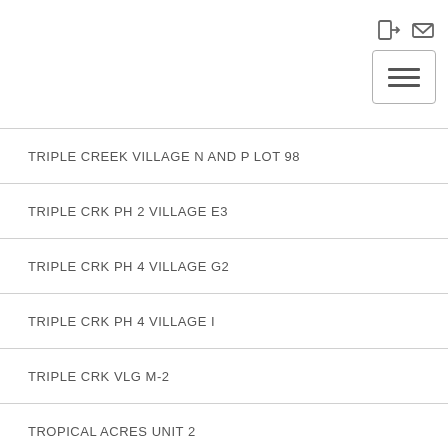TRIPLE CREEK VILLAGE N AND P LOT 98
TRIPLE CRK PH 2 VILLAGE E3
TRIPLE CRK PH 4 VILLAGE G2
TRIPLE CRK PH 4 VILLAGE I
TRIPLE CRK VLG M-2
TROPICAL ACRES UNIT 2
TWIN CREEKS
TWIN CREEKS PH 1 & 2